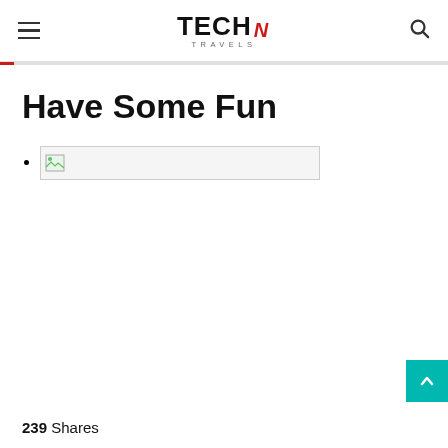Tech N Travels — navigation header with hamburger menu, logo, and search icon
Have Some Fun
[broken image placeholder]
239 Shares